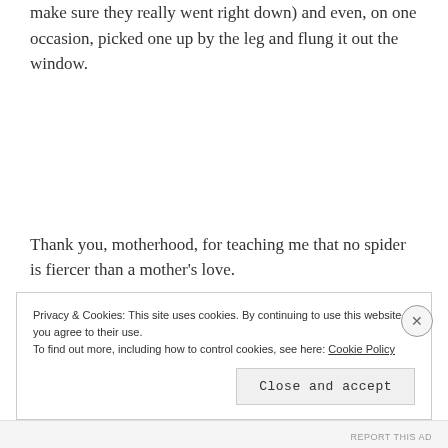make sure they really went right down) and even, on one occasion, picked one up by the leg and flung it out the window.
Thank you, motherhood, for teaching me that no spider is fiercer than a mother's love.
Privacy & Cookies: This site uses cookies. By continuing to use this website, you agree to their use. To find out more, including how to control cookies, see here: Cookie Policy
REPORT THIS AD